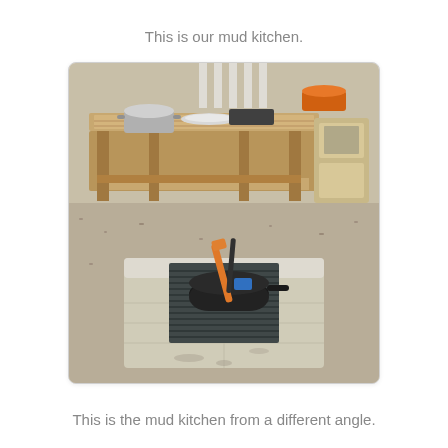This is our mud kitchen.
[Figure (photo): Outdoor mud kitchen with two views: a wooden pallet table with pots and pans on top, and in the foreground a concrete block stove with a metal grate and a black pan holding orange and blue utensils.]
This is the mud kitchen from a different angle.